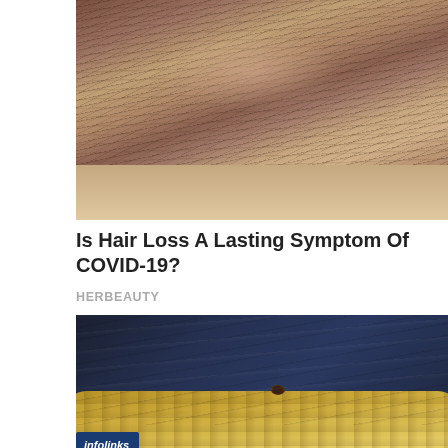[Figure (photo): Close-up photo of the top of a person's head showing hair thinning/hair loss, with visible scalp through brown hair]
Is Hair Loss A Lasting Symptom Of COVID-19?
HERBEAUTY
[Figure (photo): Photo of a bearded dragon (reptile) with yellowish-golden scales on a dark wooden background, seen from the side with one eye visible]
infolinks
AÉROPOSTALE  TEES & TANKS  $6.87 & UP  SHOP NOW